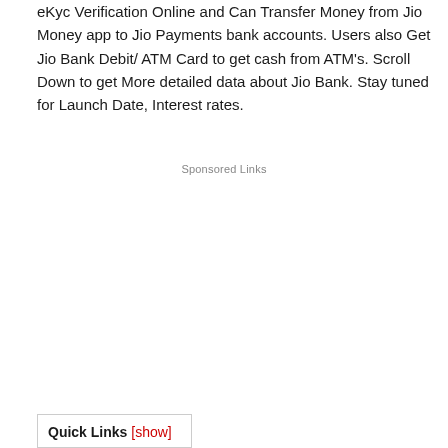eKyc Verification Online and Can Transfer Money from Jio Money app to Jio Payments bank accounts. Users also Get Jio Bank Debit/ ATM Card to get cash from ATM's. Scroll Down to get More detailed data about Jio Bank. Stay tuned for Launch Date, Interest rates.
Sponsored Links
Quick Links [show]